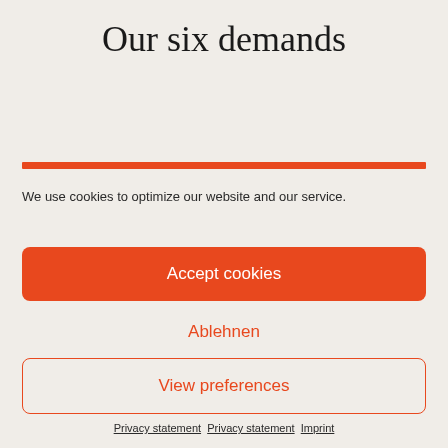Our six demands
We use cookies to optimize our website and our service.
Accept cookies
Ablehnen
View preferences
Privacy statement   Privacy statement   Imprint